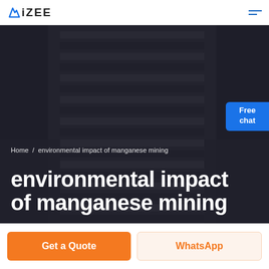iZEE
[Figure (screenshot): Dark hero background showing a person in a striped sweater, with dark overlay, used as banner background for an academic writing service website.]
Free chat
Home / environmental impact of manganese mining
environmental impact of manganese mining
Get a Quote
WhatsApp